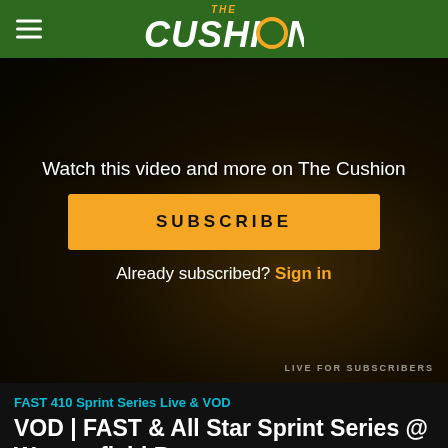THE CUSHION
[Figure (photo): Sprint car racing background image showing a red sprint car with number, overlaid with dark gradient. Center shows subscription call-to-action with 'Watch this video and more on The Cushion' text, a yellow SUBSCRIBE button, and 'Already subscribed? Sign in' text. Bottom of image shows FAST 410 Sprint Cars branding and 'LIVE FOR SUBSCRIBERS' text.]
Watch this video and more on The Cushion
SUBSCRIBE
Already subscribed? Sign in
FAST 410 Sprint Series Live & VOD
VOD | FAST & All Star Sprint Series @ Waynesfield Raceway